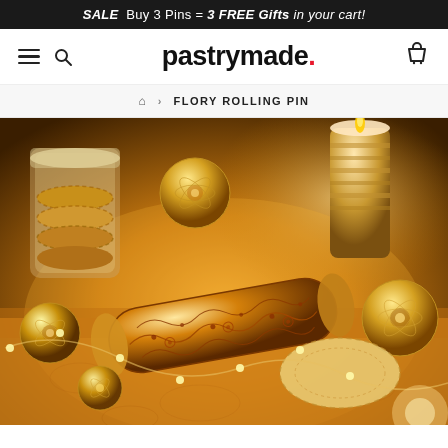SALE  Buy 3 Pins = 3 FREE Gifts in your cart!
[Figure (screenshot): Website navigation bar with hamburger menu, search icon, pastrymade. logo (with red dot), and cart icon]
🏠 › FLORY ROLLING PIN
[Figure (photo): Product photo of a decorative rolling pin with floral pattern lying on a golden-lit surface surrounded by ornate golden balls, candles, and patterned cookies]